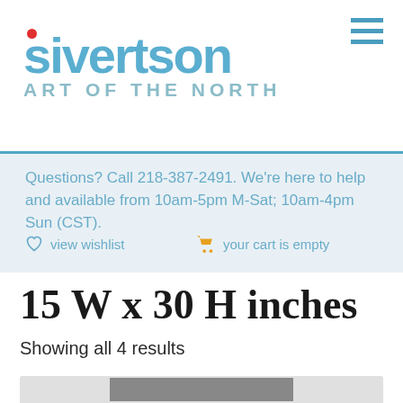sivertson ART OF THE NORTH
Questions? Call 218-387-2491. We're here to help and available from 10am-5pm M-Sat; 10am-4pm Sun (CST).
view wishlist
your cart is empty
15 W x 30 H inches
Showing all 4 results